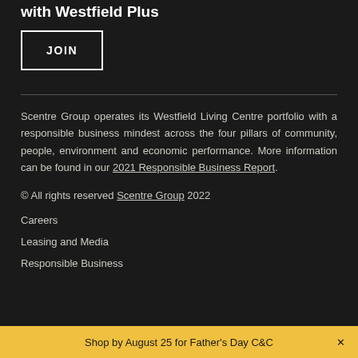with Westfield Plus
JOIN
Scentre Group operates its Westfield Living Centre portfolio with a responsible business mindest across the four pillars of community, people, environment and economic performance. More information can be found in our 2021 Responsible Business Report.
© All rights reserved Scentre Group 2022
Careers
Leasing and Media
Responsible Business
Shop by August 25 for Father's Day C&C